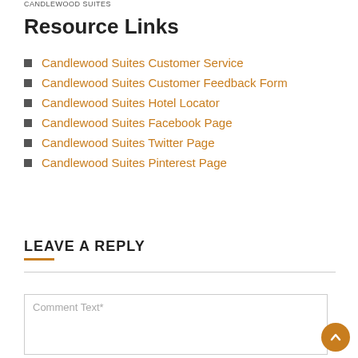CANDLEWOOD SUITES
Resource Links
Candlewood Suites Customer Service
Candlewood Suites Customer Feedback Form
Candlewood Suites Hotel Locator
Candlewood Suites Facebook Page
Candlewood Suites Twitter Page
Candlewood Suites Pinterest Page
LEAVE A REPLY
Comment Text*